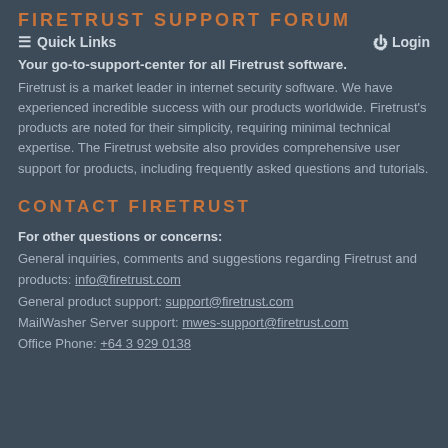FIRETRUST SUPPORT FORUM
☰ Quick Links   ⏻ Login
Your go-to-support-center for all Firetrust software.
Firetrust is a market leader in internet security software. We have experienced incredible success with our products worldwide. Firetrust's products are noted for their simplicity, requiring minimal technical expertise. The Firetrust website also provides comprehensive user support for products, including frequently asked questions and tutorials.
CONTACT FIRETRUST
For other questions or concerns:
General inquiries, comments and suggestions regarding Firetrust and products: info@firetrust.com
General product support: support@firetrust.com
MailWasher Server support: mwes-support@firetrust.com
Office Phone: +64 3 929 0138